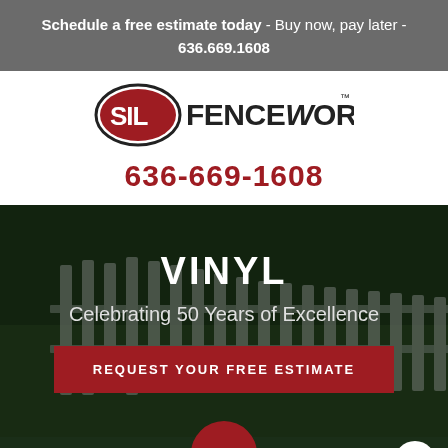Schedule a free estimate today - Buy now, pay later - 636.669.1608
[Figure (logo): SIL Fenceworks logo with oval emblem and stylized text]
636-669-1608
[Figure (photo): White vinyl picket fence along green lawn, dark overlay, hero section]
VINYL
Celebrating 50 Years of Excellence
REQUEST YOUR FREE ESTIMATE